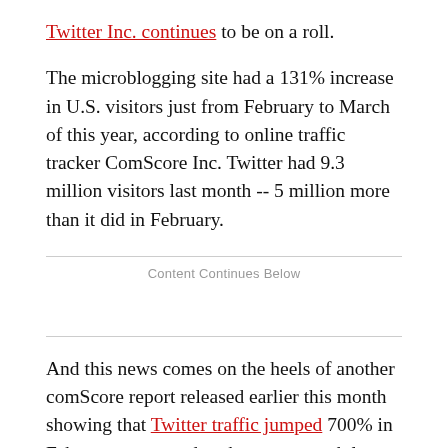Twitter Inc. continues to be on a roll.
The microblogging site had a 131% increase in U.S. visitors just from February to March of this year, according to online traffic tracker ComScore Inc. Twitter had 9.3 million visitors last month -- 5 million more than it did in February.
Content Continues Below
And this news comes on the heels of another comScore report released earlier this month showing that Twitter traffic jumped 700% in February compared to the same month last year.